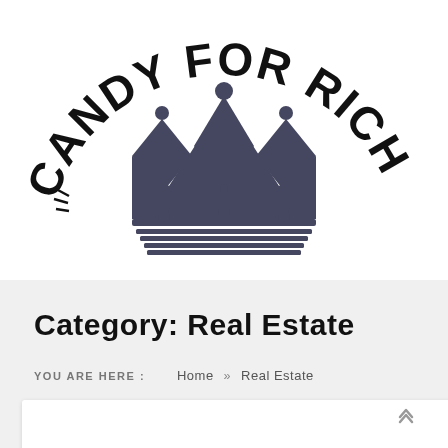[Figure (logo): Candy For Rich Men logo with arched text 'CANDY FOR RICH MEN' above a crown illustration in dark grey/slate color]
Category: Real Estate
YOU ARE HERE :   Home  »  Real Estate